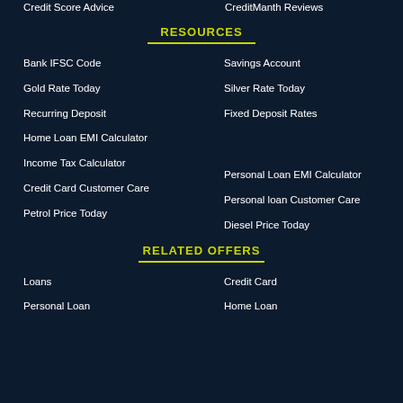Credit Score Advice
CreditManth Reviews
RESOURCES
Bank IFSC Code
Savings Account
Gold Rate Today
Silver Rate Today
Recurring Deposit
Fixed Deposit Rates
Home Loan EMI Calculator
Income Tax Calculator
Personal Loan EMI Calculator
Credit Card Customer Care
Personal loan Customer Care
Petrol Price Today
Diesel Price Today
RELATED OFFERS
Loans
Credit Card
Personal Loan
Home Loan